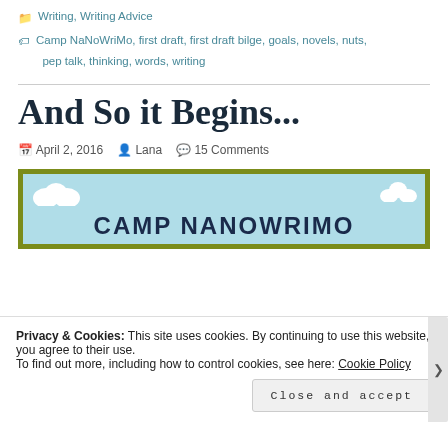Writing, Writing Advice
Camp NaNoWriMo, first draft, first draft bilge, goals, novels, nuts, pep talk, thinking, words, writing
And So it Begins...
April 2, 2016  Lana  15 Comments
[Figure (illustration): Camp NaNoWriMo banner image with light blue background, clouds, and bold text reading CAMP NANOWRIMO]
Privacy & Cookies: This site uses cookies. By continuing to use this website, you agree to their use.
To find out more, including how to control cookies, see here: Cookie Policy
Close and accept